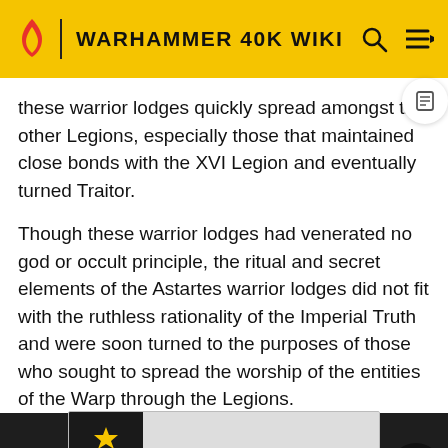WARHAMMER 40K WIKI
these warrior lodges quickly spread amongst the other Legions, especially those that maintained close bonds with the XVI Legion and eventually turned Traitor.
Though these warrior lodges had venerated no god or occult principle, the ritual and secret elements of the Astartes warrior lodges did not fit with the ruthless rationality of the Imperial Truth and were soon turned to the purposes of those who sought to spread the worship of the entities of the Warp through the Legions.
Frowned ... and flourished even in the years before Horus' corruption. They had survived in part because many of the officers within the Legions saw them as relatively harmless, and
[Figure (logo): Army National Guard logo advertisement banner]